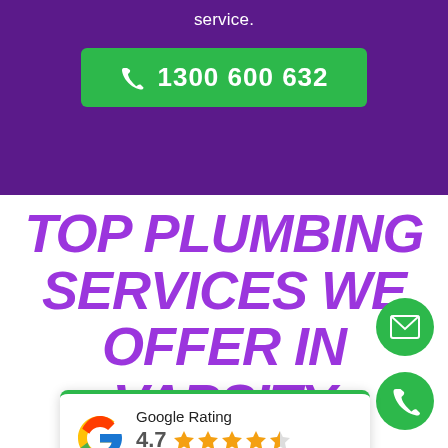service.
1300 600 632
TOP PLUMBING SERVICES WE OFFER IN VARSITY LAKES
[Figure (infographic): Google Rating card showing 4.7 stars based on 125 reviews, with Google G logo and star icons]
[Figure (infographic): Green circular email icon floating button on right side]
[Figure (infographic): Green circular phone icon floating button on right side]